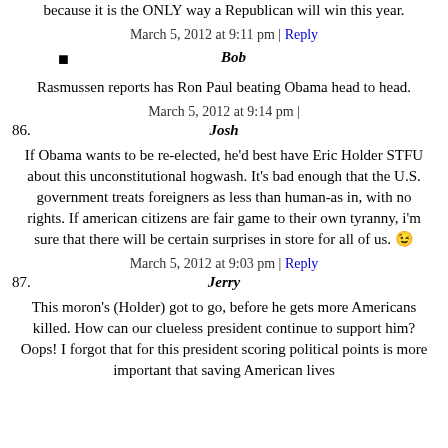because it is the ONLY way a Republican will win this year.
March 5, 2012 at 9:11 pm | Reply
Bob
Rasmussen reports has Ron Paul beating Obama head to head.
March 5, 2012 at 9:14 pm |
86. Josh
If Obama wants to be re-elected, he'd best have Eric Holder STFU about this unconstitutional hogwash. It's bad enough that the U.S. government treats foreigners as less than human-as in, with no rights. If american citizens are fair game to their own tyranny, i'm sure that there will be certain surprises in store for all of us. 😉
March 5, 2012 at 9:03 pm | Reply
87. Jerry
This moron's (Holder) got to go, before he gets more Americans killed. How can our clueless president continue to support him? Oops! I forgot that for this president scoring political points is more important that saving American lives